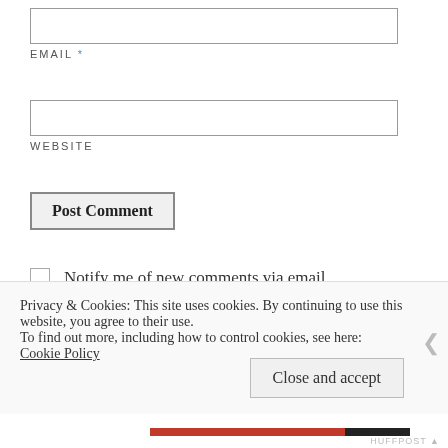EMAIL *
WEBSITE
Post Comment
Notify me of new comments via email.
Notify me of new posts via email.
Privacy & Cookies: This site uses cookies. By continuing to use this website, you agree to their use. To find out more, including how to control cookies, see here: Cookie Policy
Close and accept